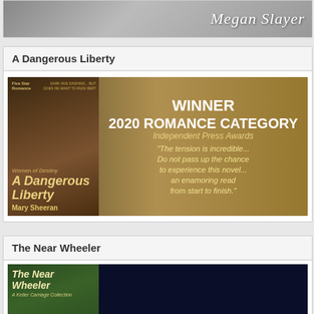[Figure (illustration): Partial banner showing author name 'Megan Slayer' in stylized italic text over a grey/silver background]
A Dangerous Liberty
[Figure (illustration): Book banner for 'A Dangerous Liberty' by Mary Sheeran. Left side shows the book cover with a historical romance couple and gold text. Right side on a gold/dark background reads: WINNER 2020 ROMANCE CATEGORY Independent Press Awards. Quote: 'The tension is incredible... Do not pass up the chance to experience this novel... an enamoring read from start to finish.']
The Near Wheeler
[Figure (illustration): Partial banner for 'The Near Wheeler: A Keller Carriage Collection' showing the book cover on a green/garden background on the left and a dark navy background on the right]